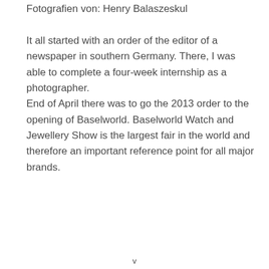Fotografien von: Henry Balaszeskul
It all started with an order of the editor of a newspaper in southern Germany. There, I was able to complete a four-week internship as a photographer.
End of April there was to go the 2013 order to the opening of Baselworld. Baselworld Watch and Jewellery Show is the largest fair in the world and therefore an important reference point for all major brands.
v